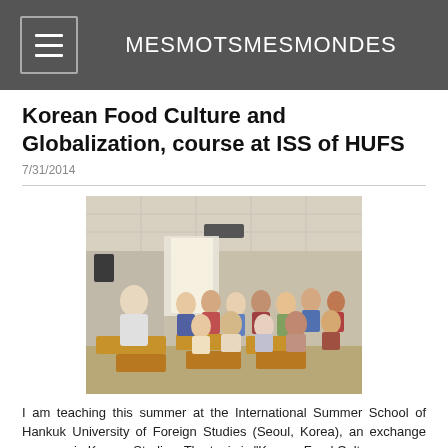MESMOTSMESMONDES
Korean Food Culture and Globalization, course at ISS of HUFS
7/31/2014
[Figure (photo): A classroom scene showing a teacher standing at the front and many students seated at desks, appearing to be a university course setting.]
I am teaching this summer at the International Summer School of Hankuk University of Foreign Studies (Seoul, Korea), an exchange program in Korean Studies. The topic is "Korean Food Cultu...